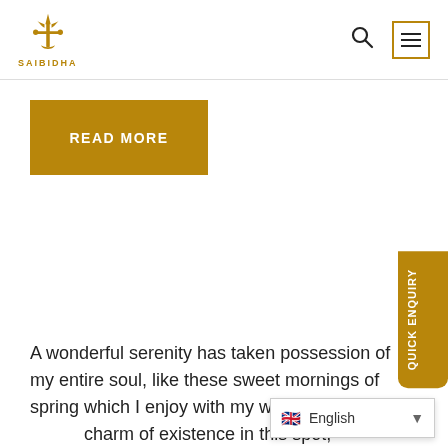SAIBIDHA - navigation header with logo, search and menu icons
[Figure (logo): Saibidha logo: gold trident/anchor icon above text SAIBIDHA]
READ MORE
A wonderful serenity has taken possession of my entire soul, like these sweet mornings of spring which I enjoy with my whole heart. I am ... charm of existence in this spot,